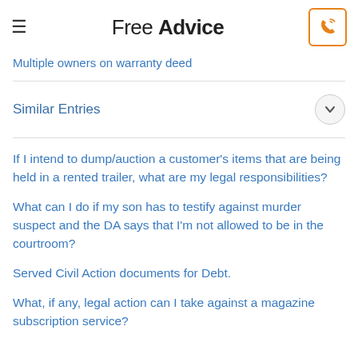Free Advice
Multiple owners on warranty deed
Similar Entries
If I intend to dump/auction a customer's items that are being held in a rented trailer, what are my legal responsibilities?
What can I do if my son has to testify against murder suspect and the DA says that I'm not allowed to be in the courtroom?
Served Civil Action documents for Debt.
What, if any, legal action can I take against a magazine subscription service?